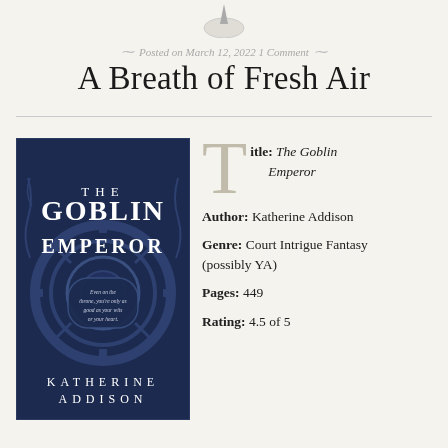Posted on March 12, 2022 1 Comment
A Breath of Fresh Air
[Figure (photo): Book cover of The Goblin Emperor by Katherine Addison. Dark navy blue cover with ornate clockwork/gear designs. Text reads: THE GOBLIN EMPEROR. Tagline: Even on the throne, you're only as good as your wits or your heart. KATHERINE ADDISON]
Title: The Goblin Emperor
Author: Katherine Addison
Genre: Court Intrigue Fantasy (possibly YA)
Pages: 449
Rating: 4.5 of 5